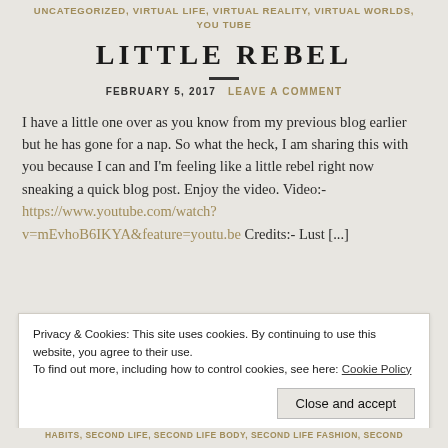UNCATEGORIZED, VIRTUAL LIFE, VIRTUAL REALITY, VIRTUAL WORLDS, YOU TUBE
LITTLE REBEL
FEBRUARY 5, 2017  LEAVE A COMMENT
I have a little one over as you know from my previous blog earlier but he has gone for a nap. So what the heck, I am sharing this with you because I can and I'm feeling like a little rebel right now sneaking a quick blog post. Enjoy the video. Video:- https://www.youtube.com/watch?v=mEvhoB6IKYA&feature=youtu.be Credits:- Lust [...]
Privacy & Cookies: This site uses cookies. By continuing to use this website, you agree to their use. To find out more, including how to control cookies, see here: Cookie Policy
HABITS, SECOND LIFE, SECOND LIFE BODY, SECOND LIFE FASHION, SECOND